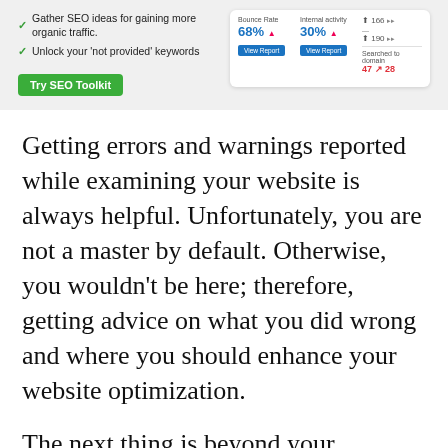[Figure (screenshot): Banner section with a light gray background showing two checkmark list items ('Gather SEO ideas for gaining more organic traffic' and 'Unlock your not provided keywords'), a green 'Try SEO Toolkit' button on the left, and a white card with SEO metrics (percentages and counts) on the right.]
Getting errors and warnings reported while examining your website is always helpful. Unfortunately, you are not a master by default. Otherwise, you wouldn't be here; therefore, getting advice on what you did wrong and where you should enhance your website optimization.
The next thing is beyond your website's internal optimization; it is PPC campaign marketing or social media marketing. For the PPC campaign, every dollar is counted; if you